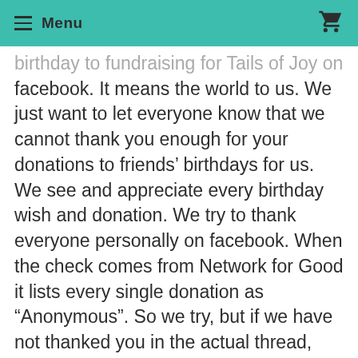Menu
birthday to fundraising for Tails of Joy on facebook. It means the world to us. We just want to let everyone know that we cannot thank you enough for your donations to friends’ birthdays for us. We see and appreciate every birthday wish and donation. We try to thank everyone personally on facebook. When the check comes from Network for Good it lists every single donation as “Anonymous”. So we try, but if we have not thanked you in the actual thread, please know we are aware of your incredible donation and we thank you thank you thank you for helping us save lives.